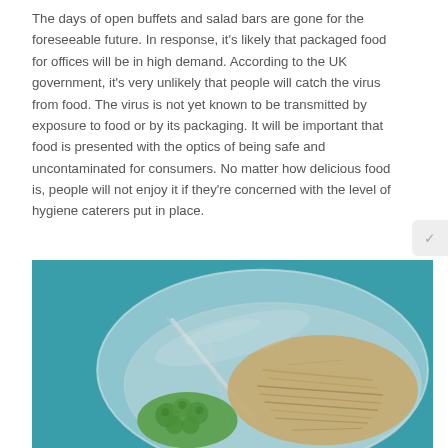The days of open buffets and salad bars are gone for the foreseeable future. In response, it's likely that packaged food for offices will be in high demand. According to the UK government, it's very unlikely that people will catch the virus from food. The virus is not yet known to be transmitted by exposure to food or by its packaging. It will be important that food is presented with the optics of being safe and uncontaminated for consumers. No matter how delicious food is, people will not enjoy it if they're concerned with the level of hygiene caterers put in place.
[Figure (photo): A plastic takeaway container with a transparent lid filled with shredded meat/noodles and broccoli, photographed on a teal/turquoise background from above at an angle.]